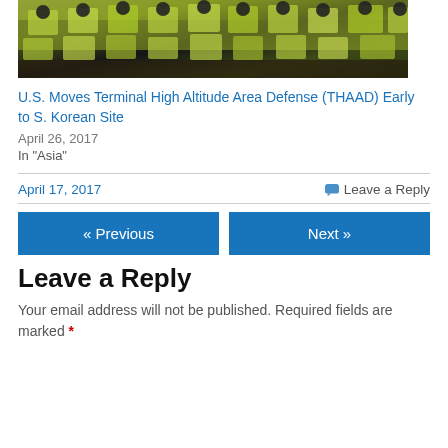[Figure (photo): Crowd of police/riot officers in yellow-green high-visibility vests and black helmets]
U.S. Moves Terminal High Altitude Area Defense (THAAD) Early to S. Korean Site
April 26, 2017
In "Asia"
April 17, 2017
Leave a Reply
« Previous
Next »
Leave a Reply
Your email address will not be published. Required fields are marked *